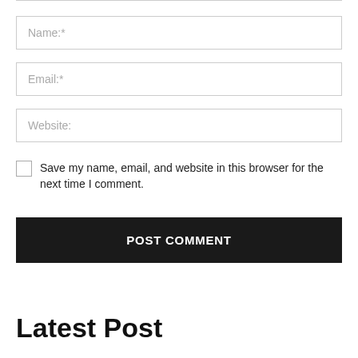[Figure (screenshot): A web comment form with Name, Email, Website input fields, a checkbox to save info, and a POST COMMENT button, followed by a Latest Post section header.]
Name:*
Email:*
Website:
Save my name, email, and website in this browser for the next time I comment.
POST COMMENT
Latest Post